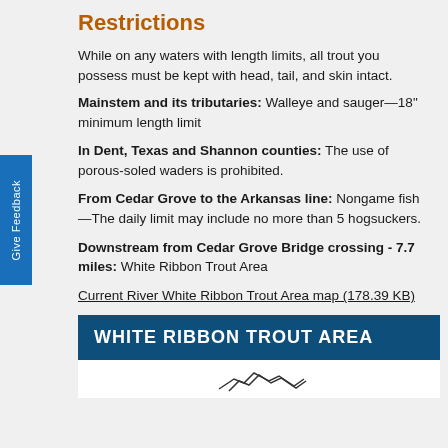Restrictions
While on any waters with length limits, all trout you possess must be kept with head, tail, and skin intact.
Mainstem and its tributaries: Walleye and sauger—18" minimum length limit
In Dent, Texas and Shannon counties: The use of porous-soled waders is prohibited.
From Cedar Grove to the Arkansas line: Nongame fish—The daily limit may include no more than 5 hogsuckers.
Downstream from Cedar Grove Bridge crossing - 7.7 miles: White Ribbon Trout Area
Current River White Ribbon Trout Area map (178.39 KB)
WHITE RIBBON TROUT AREA
[Figure (map): Partial map outline of White Ribbon Trout Area]